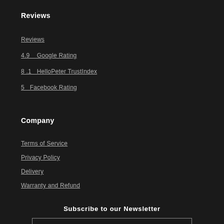Reviews
Reviews
4.9   Google Rating
8.1   HelloPeter TrustIndex
5   Facebook Rating
Company
Terms of Service
Privacy Policy
Delivery
Warranty and Refund
Subscribe to our Newsletter